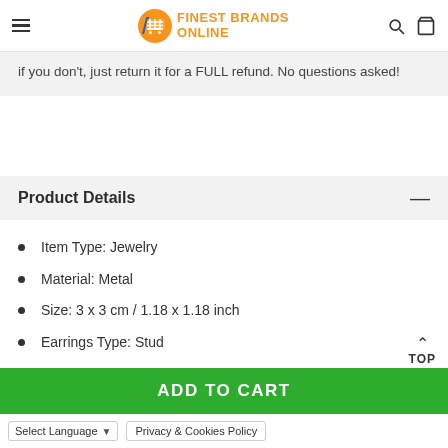Finest Brands Online
if you don't, just return it for a FULL refund. No questions asked!
Product Details
Item Type: Jewelry
Material: Metal
Size: 3 x 3 cm / 1.18 x 1.18 inch
Earrings Type: Stud
Package Includes:
ADD TO CART
Select Language | Privacy & Cookies Policy